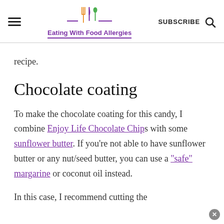Eating With Food Allergies | SUBSCRIBE
recipe.
Chocolate coating
To make the chocolate coating for this candy, I combine Enjoy Life Chocolate Chips with some sunflower butter. If you're not able to have sunflower butter or any nut/seed butter, you can use a "safe" margarine or coconut oil instead.
In this case, I recommend cutting the